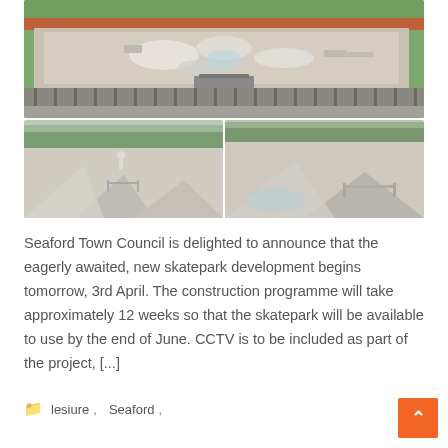[Figure (illustration): Three rendered images of a proposed skatepark development. Top image shows an aerial/overhead view of the skatepark with ramps, rails, and obstacles on a concrete surface surrounded by grass and a colored athletics track. Bottom-left image shows a ground-level perspective of the skatepark with a person visible. Bottom-right image shows another ground-level angle of the skatepark ramps and equipment.]
Seaford Town Council is delighted to announce that the eagerly awaited, new skatepark development begins tomorrow, 3rd April. The construction programme will take approximately 12 weeks so that the skatepark will be available to use by the end of June. CCTV is to be included as part of the project, [...]
lesiure, Seaford,